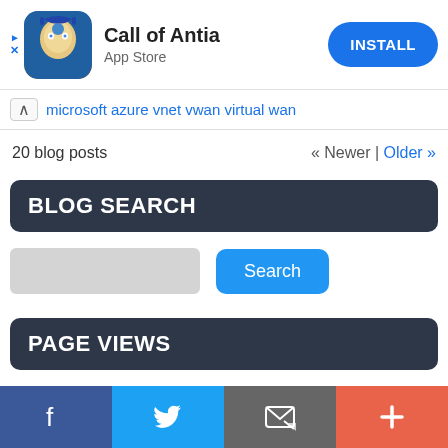[Figure (screenshot): Ad banner for 'Call of Antia' app with app icon, name, App Store label, and blue INSTALL button]
microsoft azure vnet vwan virtual wan
20 blog posts
« Newer | Older »
BLOG SEARCH
[Figure (screenshot): Search input box (gray rectangle) and blue Search button]
PAGE VIEWS
[Figure (screenshot): Bottom share bar with Facebook, Twitter, email, and plus icons]